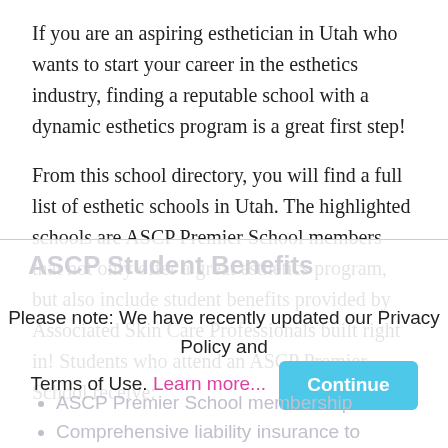If you are an aspiring esthetician in Utah who wants to start your career in the esthetics industry, finding a reputable school with a dynamic esthetics program is a great first step!
From this school directory, you will find a full list of esthetic schools in Utah. The highlighted schools are ASCP Premier School members that not only offer a great esthetics program, but also include student benefits provided by Associated Skin Care Professionals built right in! Students who attend an ASCP Premier School receive:
ASCP Student Benefits
Please note: We have recently updated our Privacy Policy and Terms of Use. Learn more... Continue
ASCP Premier School membership
Comprehensive liability insurance to protect you while performing services in school